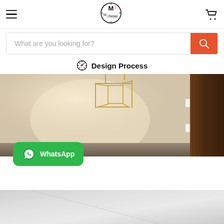M2 Retail — hamburger menu, logo, cart
What are you looking for?
Design Process
[Figure (photo): Interior design photo showing a modern room with gold geometric pendant light fixture, textured wall, stone counter surface, and dark wood panel on the right side]
[Figure (other): WhatsApp button with green background and WhatsApp logo icon]
[Figure (photo): Bottom partial photo showing a light gray stone or concrete surface]